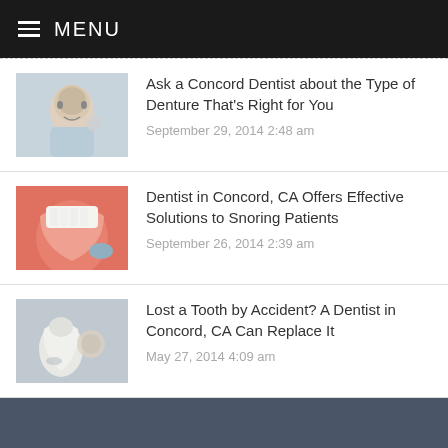MENU
Ask a Concord Dentist about the Type of Denture That's Right for You
September 29, 2014 2:48 am
Dentist in Concord, CA Offers Effective Solutions to Snoring Patients
September 26, 2014 2:39 am
Lost a Tooth by Accident? A Dentist in Concord, CA Can Replace It
May 27, 2014 4:09 am